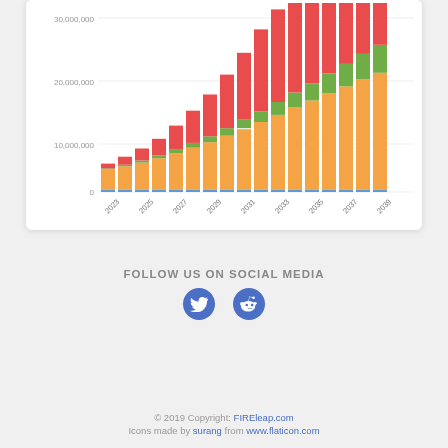[Figure (stacked-bar-chart): Projected Growth 2023-2039]
FOLLOW US ON SOCIAL MEDIA
© 2019 Copyright: FIREleap.com
Icons made by surang from www.flaticon.com